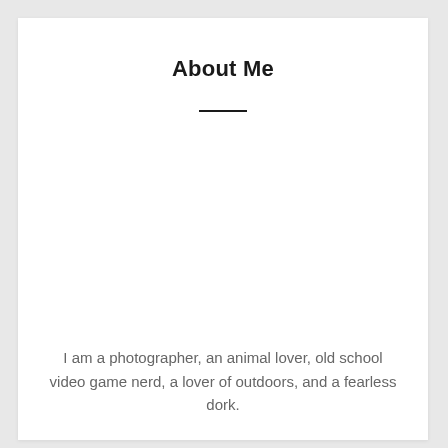About Me
I am a photographer, an animal lover, old school video game nerd, a lover of outdoors, and a fearless dork.